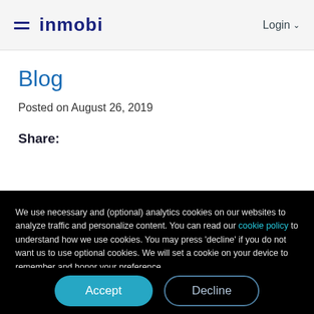InMobi — Login
Blog
Posted on August 26, 2019
Share:
We use necessary and (optional) analytics cookies on our websites to analyze traffic and personalize content. You can read our cookie policy to understand how we use cookies. You may press 'decline' if you do not want us to use optional cookies. We will set a cookie on your device to remember and honor your preference.